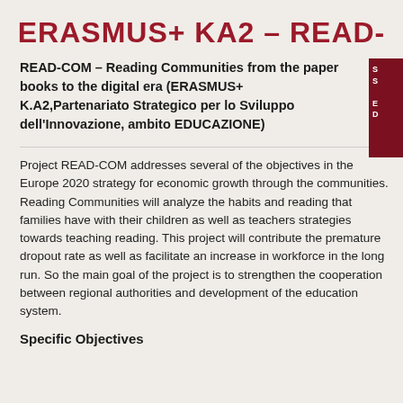ERASMUS+ KA2 – READ-
READ-COM – Reading Communities from the paper books to the digital era (ERASMUS+ K.A2,Partenariato Strategico per lo Sviluppo dell'Innovazione, ambito EDUCAZIONE)
Project READ-COM addresses several of the objectives in the Europe 2020 strategy for economic growth through the communities. Reading Communities will analyze the habits and reading that families have with their children as well as teachers strategies towards teaching reading. This project will contribute the premature dropout rate as well as facilitate an increase in workforce in the long run. So the main goal of the project is to strengthen the cooperation between regional authorities and development of the education system.
Specific Objectives